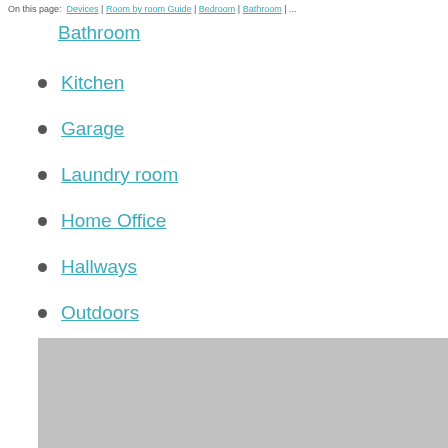On this page: Devices | Room by room Guide | Bedroom | Bathroom | ...
Bathroom
Kitchen
Garage
Laundry room
Home Office
Hallways
Outdoors
[Figure (photo): A large gray placeholder image below the list of room links]